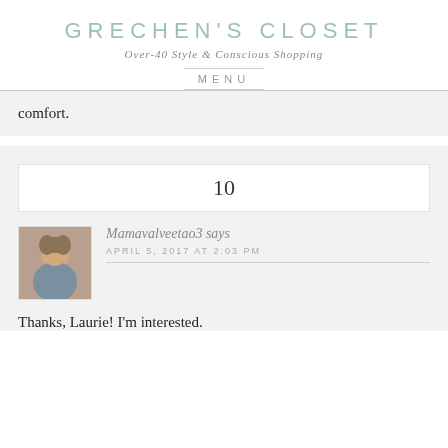GRECHEN'S CLOSET
Over-40 Style & Conscious Shopping
MENU
comfort.
10
Mamavalveetao3 says
APRIL 5, 2017 AT 2:03 PM
Thanks, Laurie! I'm interested.